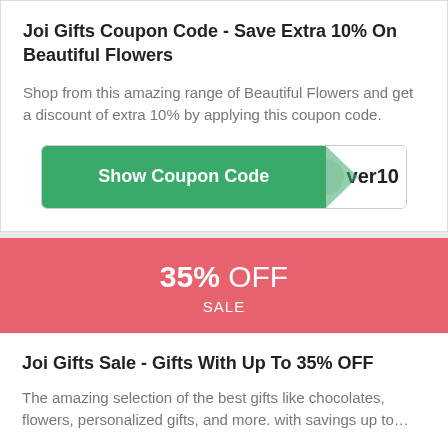Joi Gifts Coupon Code - Save Extra 10% On Beautiful Flowers
Shop from this amazing range of Beautiful Flowers and get a discount of extra 10% by applying this coupon code.
[Figure (infographic): Green 'Show Coupon Code' button with code panel showing 'ver10']
[Figure (infographic): Red/pink sale banner showing '35% OFF' and 'SALE']
Joi Gifts Sale - Gifts With Up To 35% OFF
The amazing selection of the best gifts like chocolates, flowers, personalized gifts, and more. with savings up to…
[Figure (infographic): Green 'Get Discount' button]